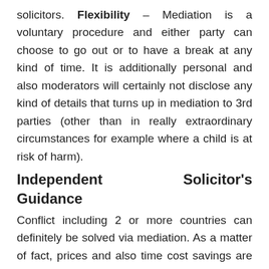solicitors. Flexibility – Mediation is a voluntary procedure and either party can choose to go out or to have a break at any kind of time. It is additionally personal and also moderators will certainly not disclose any kind of details that turns up in mediation to 3rd parties (other than in really extraordinary circumstances for example where a child is at risk of harm).
Independent Solicitor's Guidance
Conflict including 2 or more countries can definitely be solved via mediation. As a matter of fact, prices and also time cost savings are of certain importance in